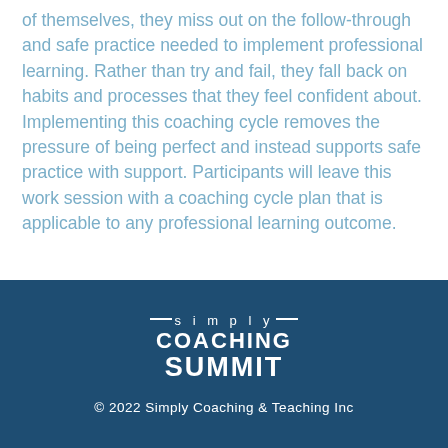of themselves, they miss out on the follow-through and safe practice needed to implement professional learning. Rather than try and fail, they fall back on habits and processes that they feel confident about. Implementing this coaching cycle removes the pressure of being perfect and instead supports safe practice with support. Participants will leave this work session with a coaching cycle plan that is applicable to any professional learning outcome.
[Figure (logo): Simply Coaching Summit logo in white on dark blue background]
© 2022 Simply Coaching & Teaching Inc